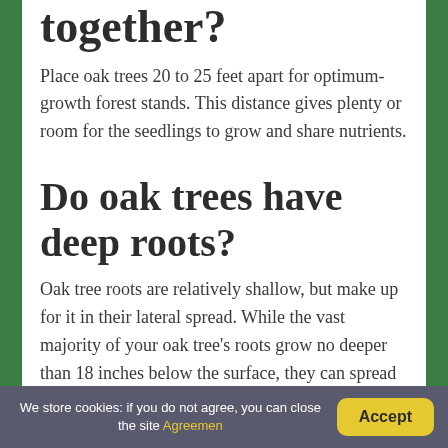together?
Place oak trees 20 to 25 feet apart for optimum-growth forest stands. This distance gives plenty or room for the seedlings to grow and share nutrients.
Do oak trees have deep roots?
Oak tree roots are relatively shallow, but make up for it in their lateral spread. While the vast majority of your oak tree's roots grow no deeper than 18 inches below the surface, they can spread 3–7 times the circumference of the tree's branches.
We store cookies: if you do not agree, you can close the site Agreemen  Accept